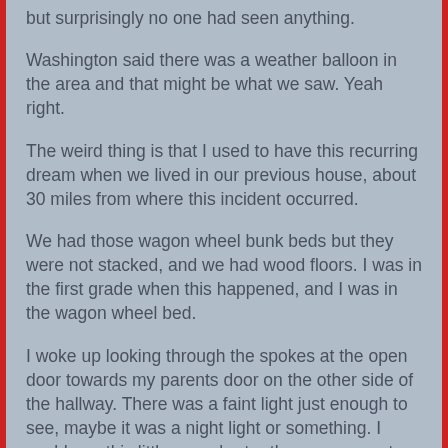but surprisingly no one had seen anything.
Washington said there was a weather balloon in the area and that might be what we saw. Yeah right.
The weird thing is that I used to have this recurring dream when we lived in our previous house, about 30 miles from where this incident occurred.
We had those wagon wheel bunk beds but they were not stacked, and we had wood floors. I was in the first grade when this happened, and I was in the wagon wheel bed.
I woke up looking through the spokes at the open door towards my parents door on the other side of the hallway. There was a faint light just enough to see, maybe it was a night light or something. I could see this little guy, shorter than me, was at the foot of my bed and he had something in his hand.
I blinked in confusion and there was another guy next to him on the left. I looked to my left and there were about